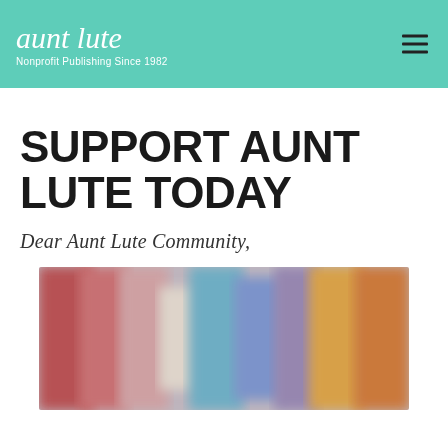aunt lute — Nonprofit Publishing Since 1982
SUPPORT AUNT LUTE TODAY
Dear Aunt Lute Community,
[Figure (photo): A blurred collage of colorful book covers arranged in a horizontal banner]